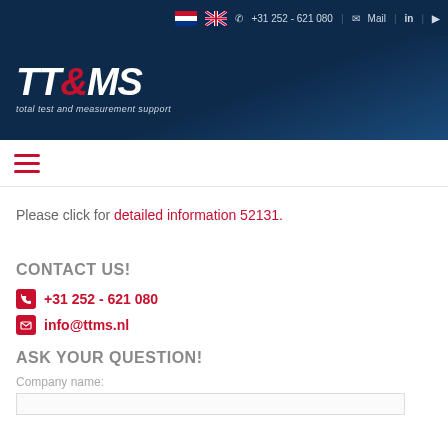TT&MS - total test and measurement support | +31 252 - 621 080 | Mail
[Figure (logo): TT&MS logo with text 'total test and measurement support' on dark blue background]
[Figure (other): Hamburger menu icon (three red horizontal lines)]
Please click for detailed information 52131.
CONTACT US!
+31 252 - 621 080
info@ttms.nl
ASK YOUR QUESTION!
Company name: